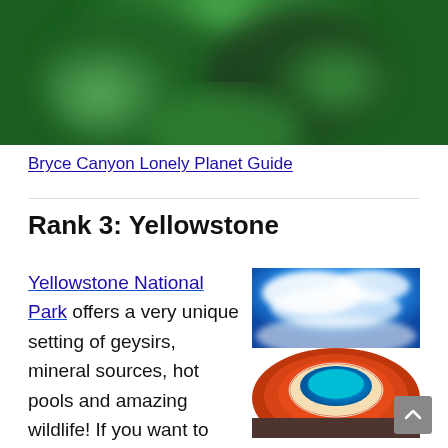[Figure (photo): Blurred green tree/foliage image visible at the top of the page, partially cut off]
Bryce Canyon Lonely Planet Guide
Rank 3: Yellowstone
[Figure (photo): Aerial photograph of Yellowstone National Park showing the Grand Prismatic Spring with vivid blue water, steam/mist, and orange/brown mineral deposits around the edges]
Yellowstone National Park offers a very unique setting of geysirs, mineral sources, hot pools and amazing wildlife! If you want to take travel photographs of bears or moose, this is the place to be. As it is located in the Northwest of the United States, it needs quite a long drive to get